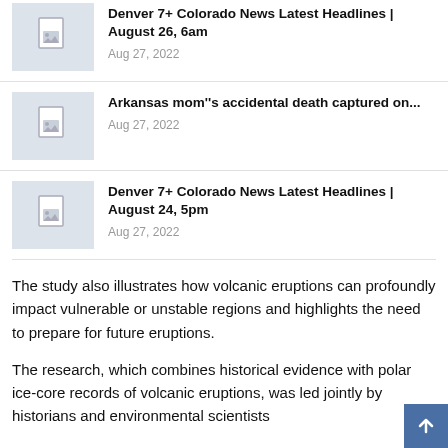Denver 7+ Colorado News Latest Headlines | August 26, 6am — Aug 27, 2022
Arkansas mom''s accidental death captured on... — Aug 27, 2022
Denver 7+ Colorado News Latest Headlines | August 24, 5pm — Aug 27, 2022
The study also illustrates how volcanic eruptions can profoundly impact vulnerable or unstable regions and highlights the need to prepare for future eruptions.
The research, which combines historical evidence with polar ice-core records of volcanic eruptions, was led jointly by historians and environmental scientists